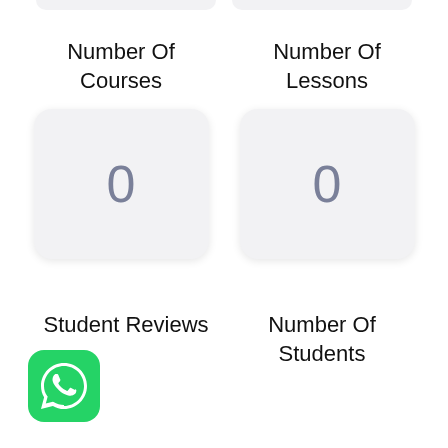Number Of Courses
Number Of Lessons
0
0
Student Reviews
Number Of Students
[Figure (logo): WhatsApp logo icon — green rounded square with white phone/chat bubble icon]